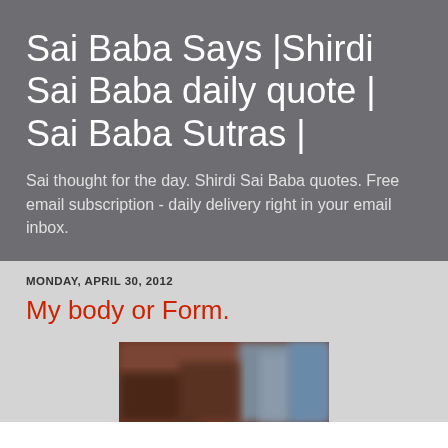Sai Baba Says |Shirdi Sai Baba daily quote | Sai Baba Sutras |
Sai thought for the day. Shirdi Sai Baba quotes. Free email subscription - daily delivery right in your email inbox.
MONDAY, APRIL 30, 2012
My body or Form.
[Figure (photo): A blurred photograph, partially visible at the bottom of the page]